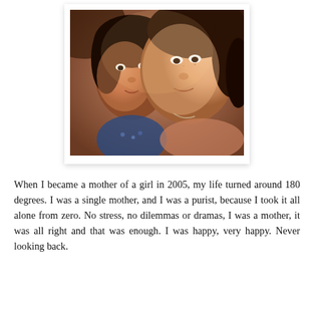[Figure (photo): A selfie photo of two women with dark hair, cheeks touching, smiling at the camera. The photo is displayed in a polaroid-style white frame with a slight drop shadow.]
When I became a mother of a girl in 2005, my life turned around 180 degrees. I was a single mother, and I was a purist, because I took it all alone from zero. No stress, no dilemmas or dramas, I was a mother, it was all right and that was enough. I was happy, very happy. Never looking back.